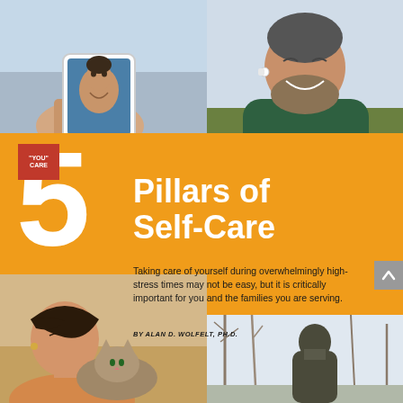[Figure (photo): Person holding a tablet showing a video call with a smiling person on screen]
[Figure (photo): Smiling middle-aged man with beard wearing green jacket and wireless earbuds]
5 Pillars of Self-Care
Taking care of yourself during overwhelmingly high-stress times may not be easy, but it is critically important for you and the families you are serving.
BY ALAN D. WOLFELT, PH.D.
[Figure (photo): Woman with bangs holding a cat, eyes closed, soft indoor light]
[Figure (photo): Man seen from behind standing outdoors among bare trees]